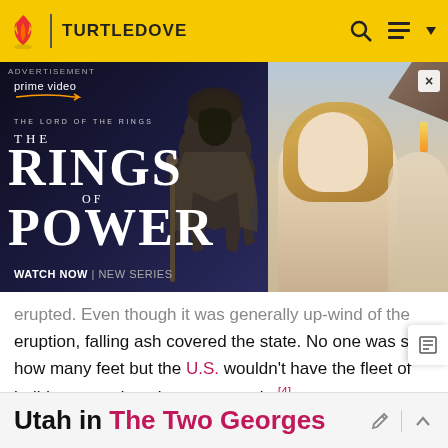TURTLEDOVE
[Figure (screenshot): Amazon Prime Video advertisement for 'The Lord of the Rings: The Rings of Power' — dark background with large white text 'THE RINGS OF POWER', orc/dark figure on left, blonde woman character on right panel. WATCH NOW | NEW SERIES]
erupted. Even though it was generally up-wind of the eruption, falling ash covered the state. No one was sure how many feet but the U.S. wouldn't have the fleet of bulldozers and trucks to remove it. [4]
Ruth Marquez was a geology graduate student working on her PhD at the University of Utah.[5]
Utah in The Two Georges